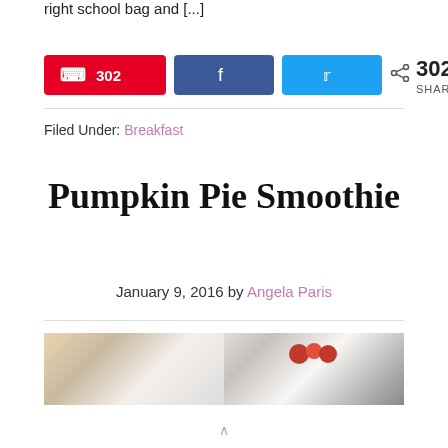right school bag and [...]
[Figure (infographic): Social share buttons: Pinterest (302), Facebook, Twitter, and 302 SHARES count]
Filed Under: Breakfast
Pumpkin Pie Smoothie
January 9, 2016 by Angela Paris
[Figure (photo): Partial photo of a smoothie or dessert dish with raspberries on a white plate with gold rim]